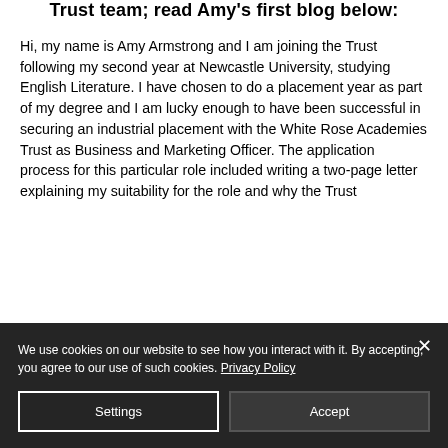Trust team; read Amy's first blog below:
Hi, my name is Amy Armstrong and I am joining the Trust following my second year at Newcastle University, studying English Literature. I have chosen to do a placement year as part of my degree and I am lucky enough to have been successful in securing an industrial placement with the White Rose Academies Trust as Business and Marketing Officer. The application process for this particular role included writing a two-page letter explaining my suitability for the role and why the Trust
We use cookies on our website to see how you interact with it. By accepting, you agree to our use of such cookies. Privacy Policy